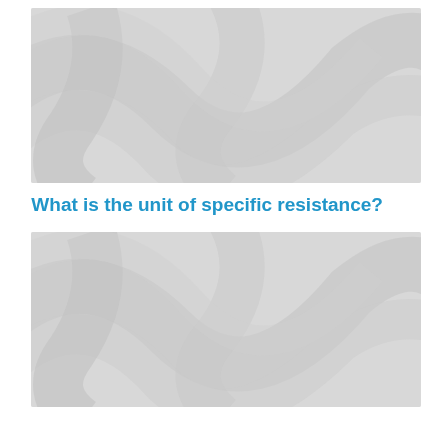[Figure (illustration): Decorative grey swirl/wave pattern background image placeholder, top]
What is the unit of specific resistance?
[Figure (illustration): Decorative grey swirl/wave pattern background image placeholder, bottom]